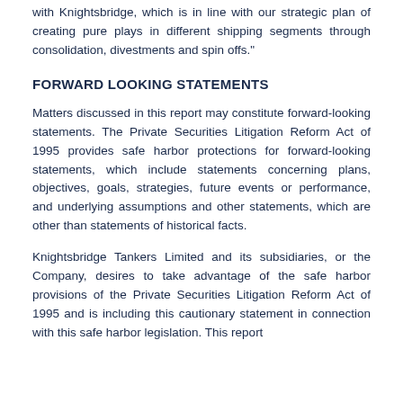with Knightsbridge, which is in line with our strategic plan of creating pure plays in different shipping segments through consolidation, divestments and spin offs."
FORWARD LOOKING STATEMENTS
Matters discussed in this report may constitute forward-looking statements. The Private Securities Litigation Reform Act of 1995 provides safe harbor protections for forward-looking statements, which include statements concerning plans, objectives, goals, strategies, future events or performance, and underlying assumptions and other statements, which are other than statements of historical facts.
Knightsbridge Tankers Limited and its subsidiaries, or the Company, desires to take advantage of the safe harbor provisions of the Private Securities Litigation Reform Act of 1995 and is including this cautionary statement in connection with this safe harbor legislation. This report